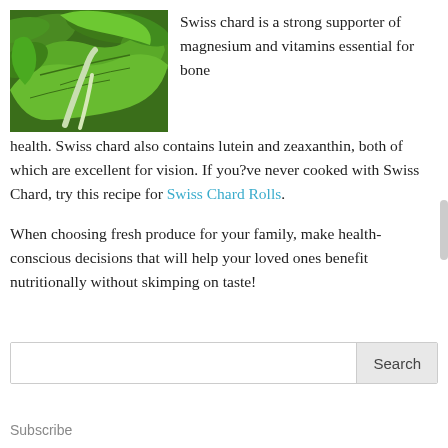[Figure (photo): Close-up photo of fresh green Swiss chard leaves]
Swiss chard is a strong supporter of magnesium and vitamins essential for bone health. Swiss chard also contains lutein and zeaxanthin, both of which are excellent for vision. If you?ve never cooked with Swiss Chard, try this recipe for Swiss Chard Rolls.
When choosing fresh produce for your family, make health-conscious decisions that will help your loved ones benefit nutritionally without skimping on taste!